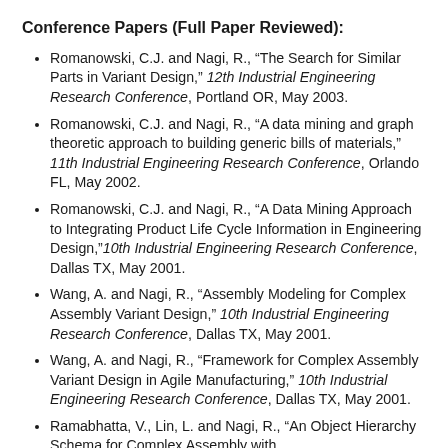Conference Papers (Full Paper Reviewed):
Romanowski, C.J. and Nagi, R., “The Search for Similar Parts in Variant Design,” 12th Industrial Engineering Research Conference, Portland OR, May 2003.
Romanowski, C.J. and Nagi, R., “A data mining and graph theoretic approach to building generic bills of materials,” 11th Industrial Engineering Research Conference, Orlando FL, May 2002.
Romanowski, C.J. and Nagi, R., “A Data Mining Approach to Integrating Product Life Cycle Information in Engineering Design,”10th Industrial Engineering Research Conference, Dallas TX, May 2001.
Wang, A. and Nagi, R., “Assembly Modeling for Complex Assembly Variant Design,” 10th Industrial Engineering Research Conference, Dallas TX, May 2001.
Wang, A. and Nagi, R., “Framework for Complex Assembly Variant Design in Agile Manufacturing,” 10th Industrial Engineering Research Conference, Dallas TX, May 2001.
Ramabhatta, V., Lin, L. and Nagi, R., “An Object Hierarchy Schema for Complex Assembly with ...